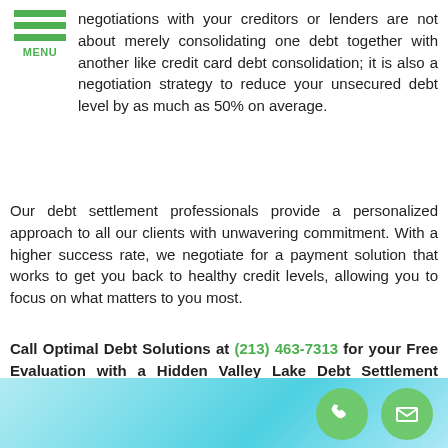[Figure (logo): Green hamburger menu icon with three horizontal bars and MENU label in green]
negotiations with your creditors or lenders are not about merely consolidating one debt together with another like credit card debt consolidation; it is also a negotiation strategy to reduce your unsecured debt level by as much as 50% on average.
Our debt settlement professionals provide a personalized approach to all our clients with unwavering commitment. With a higher success rate, we negotiate for a payment solution that works to get you back to healthy credit levels, allowing you to focus on what matters to you most.
Call Optimal Debt Solutions at (213) 463-7313 for your Free Evaluation with a Hidden Valley Lake Debt Settlement specialist!
Benefits of Debt Settlement
[Figure (photo): Light blue blurred background photo with two green circular icons: a phone icon and an email/envelope icon in the bottom right area]